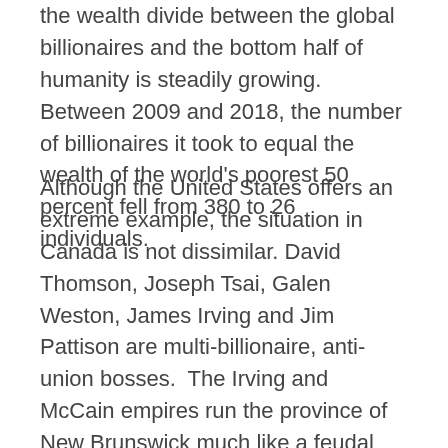the wealth divide between the global billionaires and the bottom half of humanity is steadily growing. Between 2009 and 2018, the number of billionaires it took to equal the wealth of the world's poorest 50 percent fell from 380 to 26 individuals.
Although the United States offers an extreme example, the situation in Canada is not dissimilar. David Thomson, Joseph Tsai, Galen Weston, James Irving and Jim Pattison are multi-billionaire, anti-union bosses.  The Irving and McCain empires run the province of New Brunswick much like a feudal fiefdom.  Many of the biggest corporations have prospered during the current pandemic, particularly in the retail, food, telecommunications, banking and energy sectors.